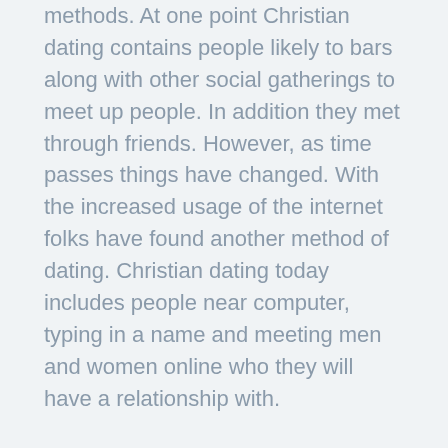methods. At one point Christian dating contains people likely to bars along with other social gatherings to meet up people. In addition they met through friends. However, as time passes things have changed. With the increased usage of the internet folks have found another method of dating. Christian dating today includes people near computer, typing in a name and meeting men and women online who they will have a relationship with.
There are those that believe this type of Christian dating is wrong and folks should move away from the computer and obtain out a meet people. However there are certainly others who think, what better solution to meet a huge selection of people simultaneously then by entering a chat